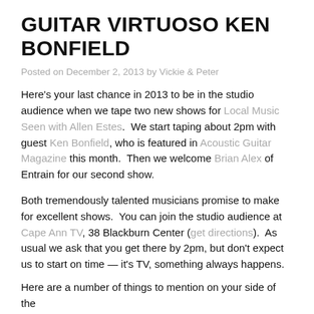GUITAR VIRTUOSO KEN BONFIELD
Posted on December 2, 2013 by Vickie & Peter
Here's your last chance in 2013 to be in the studio audience when we tape two new shows for Local Music Seen with Allen Estes.  We start taping about 2pm with guest Ken Bonfield, who is featured in Acoustic Guitar Magazine this month.  Then we welcome Brian Alex of Entrain for our second show.
Both tremendously talented musicians promise to make for excellent shows.  You can join the studio audience at Cape Ann TV, 38 Blackburn Center (get directions).  As usual we ask that you get there by 2pm, but don't expect us to start on time — it's TV, something always happens.
Here are a number of things to mention on your side of the